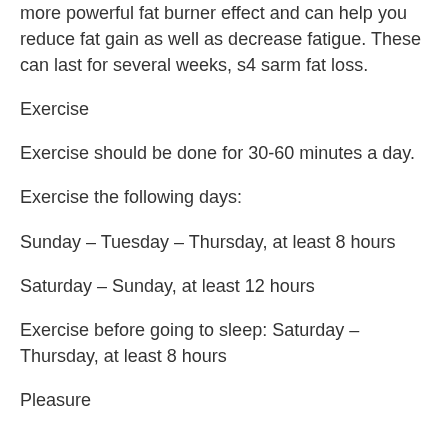more powerful fat burner effect and can help you reduce fat gain as well as decrease fatigue. These can last for several weeks, s4 sarm fat loss.
Exercise
Exercise should be done for 30-60 minutes a day.
Exercise the following days:
Sunday – Tuesday – Thursday, at least 8 hours
Saturday – Sunday, at least 12 hours
Exercise before going to sleep: Saturday – Thursday, at least 8 hours
Pleasure